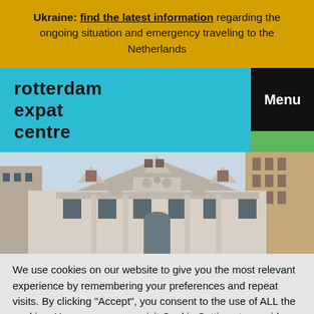Ukraine: find the latest information regarding the ongoing situation and emergency traveling to the Netherlands
[Figure (logo): Rotterdam Expat Centre logo in black text on cyan background]
[Figure (photo): Facade of a classical European building with ornate architectural details, dormer windows, and sculptures]
We use cookies on our website to give you the most relevant experience by remembering your preferences and repeat visits. By clicking "Accept", you consent to the use of ALL the cookies. However you may visit Cookie Settings to provide a controlled consent.
BSN (Citizen Service Number)
Cookie settings
ACCEPT